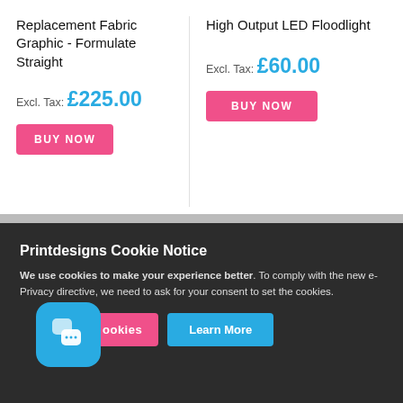Replacement Fabric Graphic - Formulate Straight
Excl. Tax: £225.00
BUY NOW
High Output LED Floodlight
Excl. Tax: £60.00
BUY NOW
Printdesigns Cookie Notice
We use cookies to make your experience better. To comply with the new e-Privacy directive, we need to ask for your consent to set the cookies.
Allow Cookies
Learn More